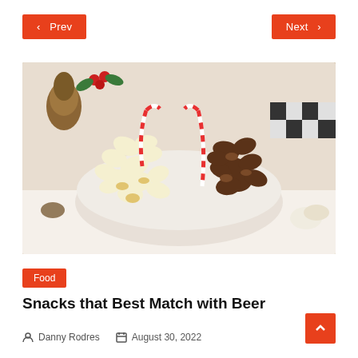< Prev    Next >
[Figure (photo): A bowl filled with white chocolate peppermint popcorn and dark chocolate popcorn, decorated with candy canes, surrounded by pine cones, holly berries, and holiday decorations on a white background.]
Food
Snacks that Best Match with Beer
Danny Rodres   August 30, 2022